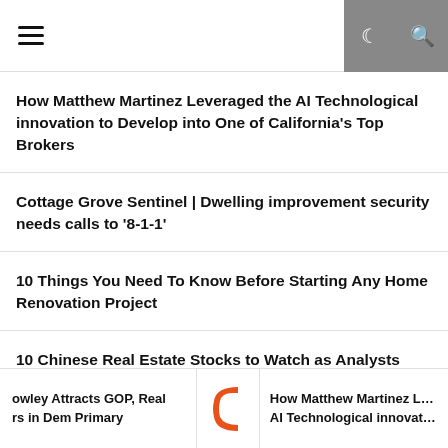Navigation bar with hamburger menu and dark mode / search icons
How Matthew Martinez Leveraged the AI Technological innovation to Develop into One of California's Top Brokers
Cottage Grove Sentinel | Dwelling improvement security needs calls to '8-1-1'
10 Things You Need To Know Before Starting Any Home Renovation Project
10 Chinese Real Estate Stocks to Watch as Analysts Predict More Defaults and Crisis
owley Attracts GOP, Real rs in Dem Primary | [logo] | How Matthew Martinez Lever… AI Technological innovation t